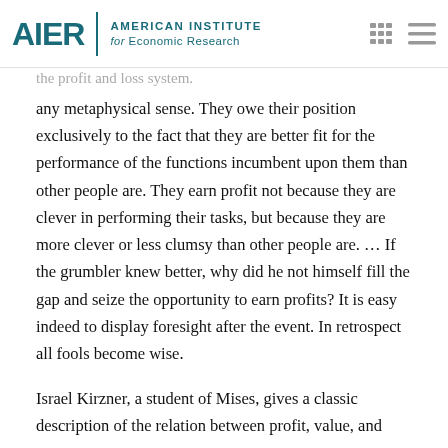AIER | AMERICAN INSTITUTE for ECONOMIC RESEARCH
any metaphysical sense. They owe their position exclusively to the fact that they are better fit for the performance of the functions incumbent upon them than other people are. They earn profit not because they are clever in performing their tasks, but because they are more clever or less clumsy than other people are. … If the grumbler knew better, why did he not himself fill the gap and seize the opportunity to earn profits? It is easy indeed to display foresight after the event. In retrospect all fools become wise.
Israel Kirzner, a student of Mises, gives a classic description of the relation between profit, value, and